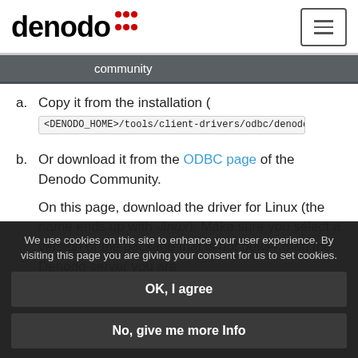denodo community
a. Copy it from the installation ( <DENODO_HOME>/tools/client-drivers/odbc/denodo-v...
b. Or download it from the ODBC page of the Denodo Community.

On this page, download the driver for Linux (the name ends up with -linux). Make sure you select a version of the package that is not newer than the Denodo server you are
We use cookies on this site to enhance your user experience. By visiting this page you are giving your consent for us to set cookies.
OK, I agree
No, give me more Info